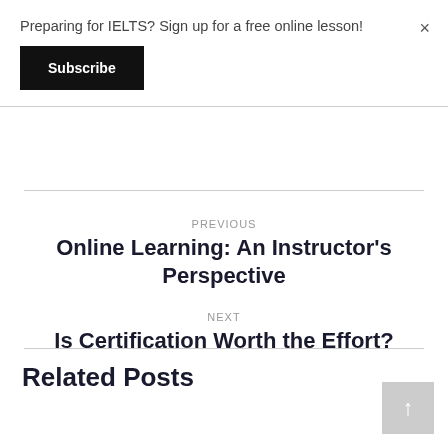Preparing for IELTS? Sign up for a free online lesson!
Subscribe
×
PREVIOUS
Online Learning: An Instructor's Perspective
NEXT
Is Certification Worth the Effort?
Related Posts